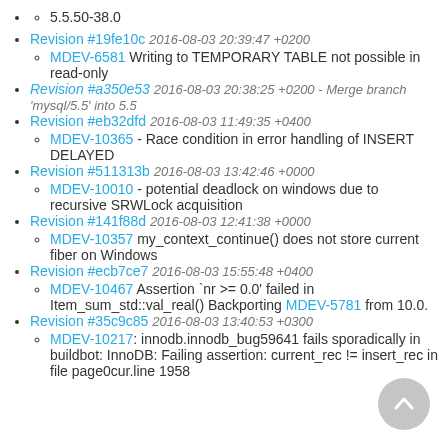5.5.50-38.0
Revision #19fe10c 2016-08-03 20:39:47 +0200
MDEV-6581 Writing to TEMPORARY TABLE not possible in read-only
Revision #a350e53 2016-08-03 20:38:25 +0200 - Merge branch 'mysql/5.5' into 5.5
Revision #eb32dfd 2016-08-03 11:49:35 +0400
MDEV-10365 - Race condition in error handling of INSERT DELAYED
Revision #511313b 2016-08-03 13:42:46 +0000
MDEV-10010 - potential deadlock on windows due to recursive SRWLock acquisition
Revision #141f88d 2016-08-03 12:41:38 +0000
MDEV-10357 my_context_continue() does not store current fiber on Windows
Revision #ecb7ce7 2016-08-03 15:55:48 +0400
MDEV-10467 Assertion `nr >= 0.0' failed in Item_sum_std::val_real() Backporting MDEV-5781 from 10.0.
Revision #35c9c85 2016-08-03 13:40:53 +0300
MDEV-10217: innodb.innodb_bug59641 fails sporadically in buildbot: InnoDB: Failing assertion: current_rec != insert_rec in file page0cur.line 1958